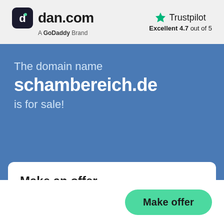[Figure (logo): dan.com logo with dark rounded square icon showing 'd' symbol and text 'dan.com', subtitle 'A GoDoddy Brand']
[Figure (logo): Trustpilot logo with green star and text 'Trustpilot', rating 'Excellent 4.7 out of 5']
The domain name
schambereich.de
is for sale!
Make an offer
Make offer